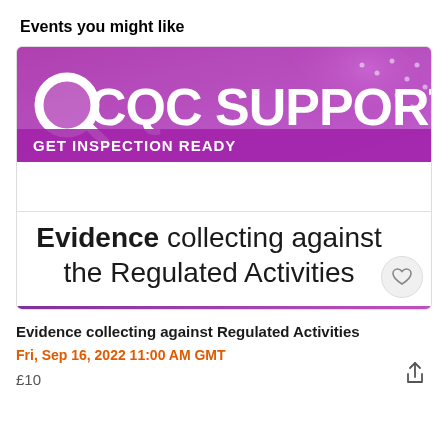Events you might like
[Figure (illustration): Purple banner with CQC SUPPORT logo and text GET INSPECTION READY. Large serif-style white text reads CQC SUPPORT with a magnifying glass icon. Below in a lighter purple band: GET INSPECTION READY in white. A second section below shows 'Evidence collecting against the Regulated Activities' in bold black text on white, with a heart/favourite icon in grey circle at bottom right.]
Evidence collecting against Regulated Activities
Fri, Sep 16, 2022 11:00 AM GMT
£10